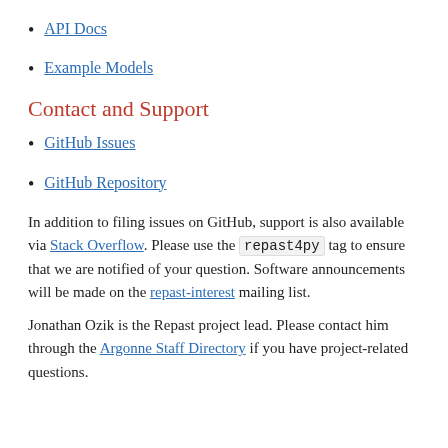API Docs
Example Models
Contact and Support
GitHub Issues
GitHub Repository
In addition to filing issues on GitHub, support is also available via Stack Overflow. Please use the repast4py tag to ensure that we are notified of your question. Software announcements will be made on the repast-interest mailing list.
Jonathan Ozik is the Repast project lead. Please contact him through the Argonne Staff Directory if you have project-related questions.